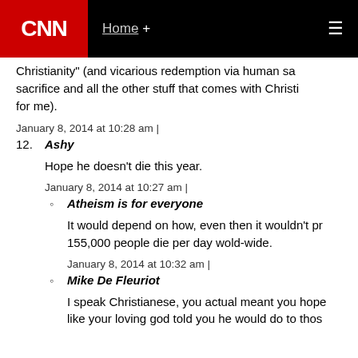CNN | Home +
Christianity" (and vicarious redemption via human sacrifice and all the other stuff that comes with Christianity for me).
January 8, 2014 at 10:28 am |
12. Ashy
Hope he doesn't die this year.
January 8, 2014 at 10:27 am |
Atheism is for everyone
It would depend on how, even then it wouldn't prove... 155,000 people die per day wold-wide.
January 8, 2014 at 10:32 am |
Mike De Fleuriot
I speak Christianese, you actual meant you hope like your loving god told you he would do to those